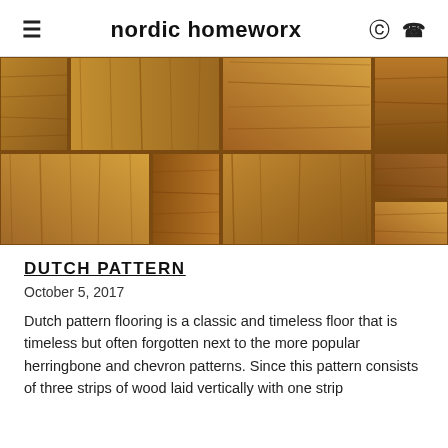nordic homeworx
[Figure (photo): Close-up photograph of Dutch pattern wood flooring showing multiple rectangular wood panels arranged in a geometric parquet pattern with varying grain directions, in warm brown tones.]
DUTCH PATTERN
October 5, 2017
Dutch pattern flooring is a classic and timeless floor that is timeless but often forgotten next to the more popular herringbone and chevron patterns. Since this pattern consists of three strips of wood laid vertically with one strip